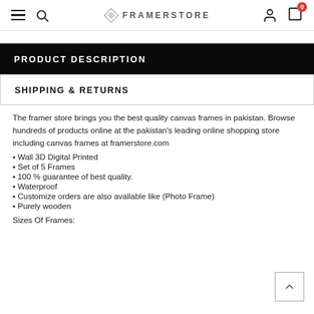FRAMERSTORE
PRODUCT DESCRIPTION
SHIPPING & RETURNS
The framer store brings you the best quality canvas frames in pakistan. Browse hundreds of products online at the pakistan's leading online shopping store including canvas frames at framerstore.com
• Wall 3D Digital Printed
• Set of 5 Frames
• 100 % guarantee of best quality.
• Waterproof
• Customize orders are also available like (Photo Frame)
• Purely wooden
Sizes Of Frames: